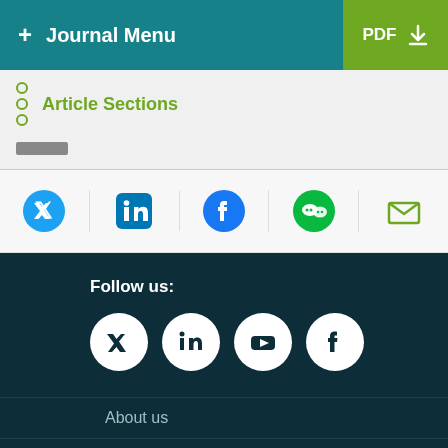+ Journal Menu  PDF ↓
Article Sections
[Figure (screenshot): Social share icons row: Twitter (blue bird), LinkedIn (blue square), Facebook (blue circle), WeChat (green icon), Email (green envelope)]
Follow us:
[Figure (screenshot): Footer social media icon circles on dark background: Twitter, LinkedIn, YouTube, Facebook]
About us
Contact us
Careers
Blog